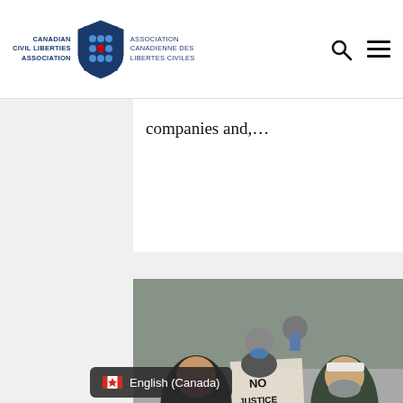Canadian Civil Liberties Association / Association Canadienne des Libertes Civiles
companies and,...
[Figure (photo): Protest crowd wearing masks, one person holding a sign reading 'No Justice No Peace']
CCLA Seeks to Appeal Nova Scotia Protest
English (Canada)